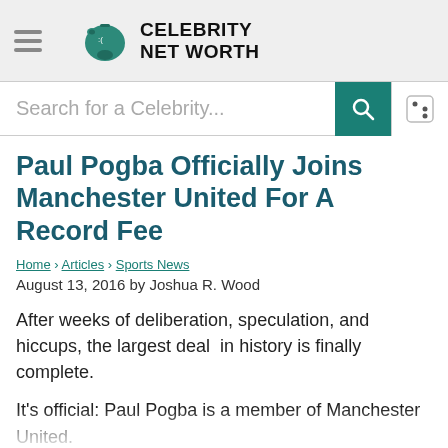Celebrity Net Worth
[Figure (other): Celebrity Net Worth logo: sad piggy bank icon with site name]
Search for a Celebrity...
Paul Pogba Officially Joins Manchester United For A Record Fee
Home › Articles › Sports News
August 13, 2016 by Joshua R. Wood
After weeks of deliberation, speculation, and hiccups, the largest deal in history is finally complete.
It's official: Paul Pogba is a member of Manchester United.
It was announced in the early morning hours on Tuesday that Pogba would leave his Juventus squad of four years to go back to Old Trafford for a record fee of 89 million